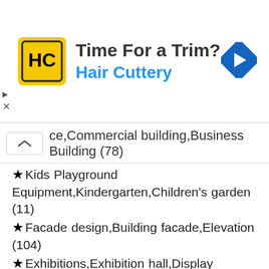[Figure (infographic): Hair Cuttery advertisement banner with logo, 'Time For a Trim?' heading, Hair Cuttery brand name, and navigation arrow icon]
ce,Commercial building,Business Building (78)
★Kids Playground Equipment,Kindergarten,Children's garden (11)
★Facade design,Building facade,Elevation (104)
★Exhibitions,Exhibition hall,Display cabinet,Display stand,Exhibition design,Gallery (77)
★Basketball Court,Tennis Court,Badminton Court,Baseball Court (24)
★Boutiques,Clothing stores,women's wear,men's wear,Store design (82)
★Hospital design,Treatment room,Medical equipment (8)
★Auditorium ,Cinema,Theaters (75)
★Conference Room Design,Conference Room Details,Conference Room (69)
★Gymnasium,Sports hall,Gym,Fitness equipment,Weightlifting,Dumbbells,Yoga (44)